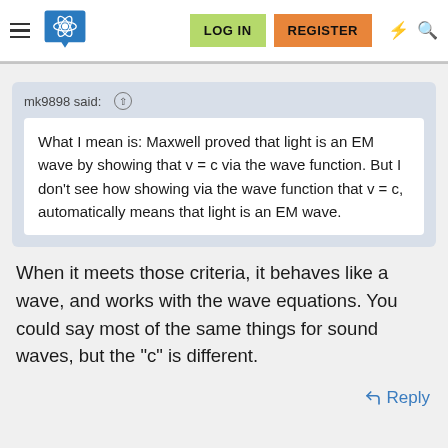Navigation bar with logo, LOG IN, REGISTER buttons
mk9898 said:
What I mean is: Maxwell proved that light is an EM wave by showing that v = c via the wave function. But I don't see how showing via the wave function that v = c, automatically means that light is an EM wave.
When it meets those criteria, it behaves like a wave, and works with the wave equations. You could say most of the same things for sound waves, but the "c" is different.
Reply